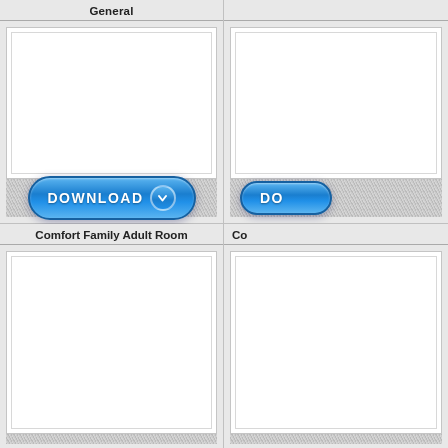General
[Figure (screenshot): Card panel with white content area and DOWNLOAD button]
Co
[Figure (screenshot): Partial card panel with partial DO button visible]
Comfort Family Adult Room
[Figure (screenshot): Card panel with white content area, lower half]
Co
[Figure (screenshot): Partial card panel lower right, cut off]